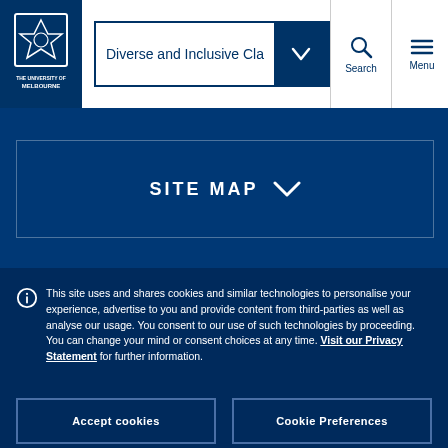[Figure (logo): University of Melbourne crest/logo in white on dark blue background]
Diverse and Inclusive Cla
SITE MAP
This site uses and shares cookies and similar technologies to personalise your experience, advertise to you and provide content from third-parties as well as analyse our usage. You consent to our use of such technologies by proceeding. You can change your mind or consent choices at any time. Visit our Privacy Statement for further information.
Accept cookies
Cookie Preferences